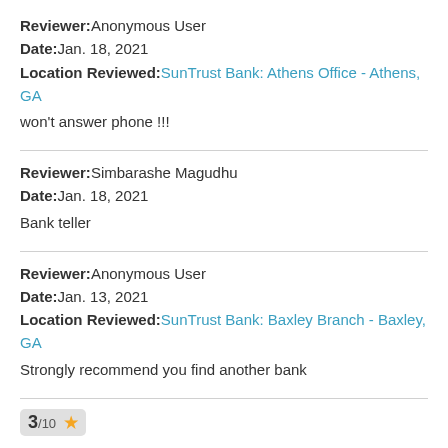Reviewer: Anonymous User
Date: Jan. 18, 2021
Location Reviewed: SunTrust Bank: Athens Office - Athens, GA
won't answer phone !!!
Reviewer: Simbarashe Magudhu
Date: Jan. 18, 2021
Bank teller
Reviewer: Anonymous User
Date: Jan. 13, 2021
Location Reviewed: SunTrust Bank: Baxley Branch - Baxley, GA
Strongly recommend you find another bank
3/10 ★
Reviewer: Anonymous User